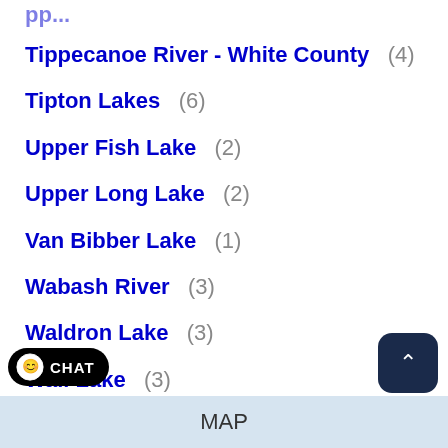Tippecanoe River - White County (4)
Tipton Lakes (6)
Upper Fish Lake (2)
Upper Long Lake (2)
Van Bibber Lake (1)
Wabash River (3)
Waldron Lake (3)
Wall Lake (3)
Yellowstone Lake (2)
MAP